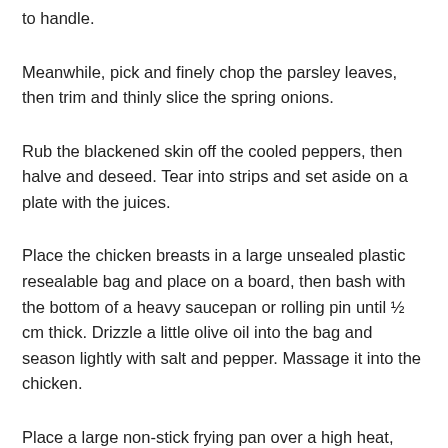to handle.
Meanwhile, pick and finely chop the parsley leaves, then trim and thinly slice the spring onions.
Rub the blackened skin off the cooled peppers, then halve and deseed. Tear into strips and set aside on a plate with the juices.
Place the chicken breasts in a large unsealed plastic resealable bag and place on a board, then bash with the bottom of a heavy saucepan or rolling pin until ½ cm thick. Drizzle a little olive oil into the bag and season lightly with salt and pepper. Massage it into the chicken.
Place a large non-stick frying pan over a high heat, adding the pistachios as it heats up and lightly toasting until smelling